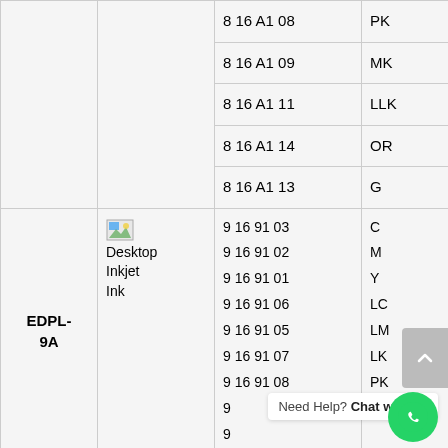|  |  | Code | Color | Type |
| --- | --- | --- | --- | --- |
|  |  | 8 16 A1 08 | PK |  |
|  |  | 8 16 A1 09 | MK |  |
|  |  | 8 16 A1 11 | LLK |  |
|  |  | 8 16 A1 14 | OR |  |
|  |  | 8 16 A1 13 | G |  |
| EDPL-9A | Desktop Inkjet Ink | 9 16 91 03 | C | Dye |
|  |  | 9 16 91 02 | M |  |
|  |  | 9 16 91 01 | Y |  |
|  |  | 9 16 91 06 | LC |  |
|  |  | 9 16 91 05 | LM |  |
|  |  | 9 16 91 07 | LK |  |
|  |  | 9 16 91 08 | PK |  |
|  |  | 9... | ... |  |